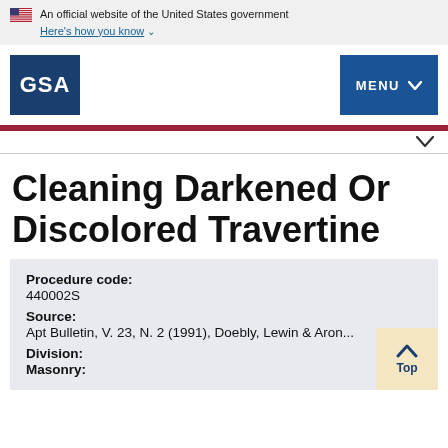An official website of the United States government. Here's how you know
[Figure (logo): GSA logo — white text on dark blue square background]
Cleaning Darkened Or Discolored Travertine
Procedure code: 440002S
Source: Apt Bulletin, V. 23, N. 2 (1991), Doebly, Lewin & Aron...
Division:
Masonry: